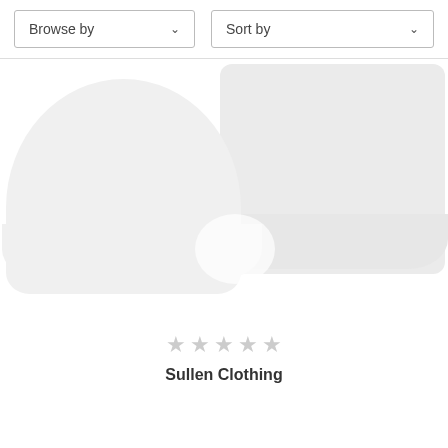Browse by
Sort by
[Figure (photo): Two overlapping hat/cap product silhouettes rendered as placeholder images in light gray on white background]
★★★★★ (star rating, all empty/gray)
Sullen Clothing